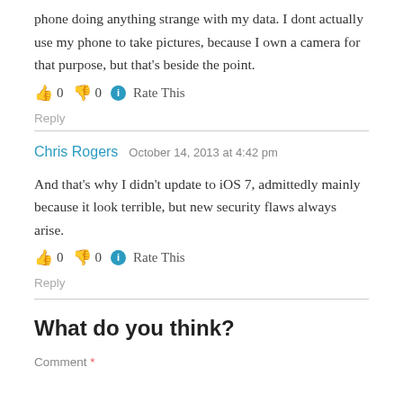phone doing anything strange with my data. I dont actually use my phone to take pictures, because I own a camera for that purpose, but that's beside the point.
👍 0 👎 0 ℹ Rate This
Reply
Chris Rogers   October 14, 2013 at 4:42 pm
And that's why I didn't update to iOS 7, admittedly mainly because it look terrible, but new security flaws always arise.
👍 0 👎 0 ℹ Rate This
Reply
What do you think?
Comment *